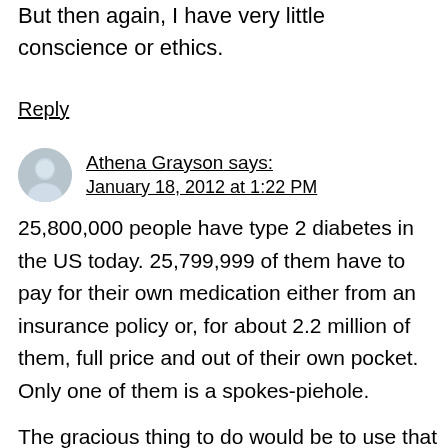But then again, I have very little conscience or ethics.
Reply
Athena Grayson says: January 18, 2012 at 1:22 PM
25,800,000 people have type 2 diabetes in the US today. 25,799,999 of them have to pay for their own medication either from an insurance policy or, for about 2.2 million of them, full price and out of their own pocket. Only one of them is a spokes-piehole.
The gracious thing to do would be to use that piehole of hers for something useful,